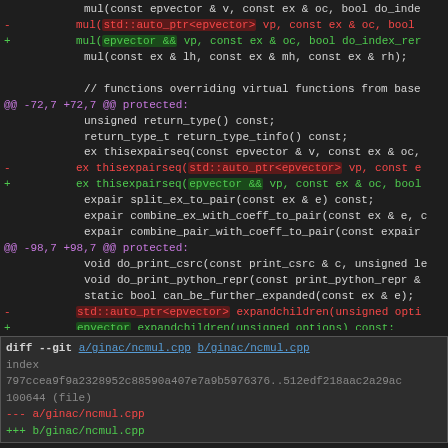Code diff showing changes to mul and epvector/thisexpairseq functions, and a diff header for a/ginac/ncmul.cpp b/ginac/ncmul.cpp
diff --git a/ginac/ncmul.cpp b/ginac/ncmul.cpp
index 797ccea9f9a2328952c88590a407e7a9b5976376..512edf218aac2a29ac
100644 (file)
--- a/ginac/ncmul.cpp
+++ b/ginac/ncmul.cpp